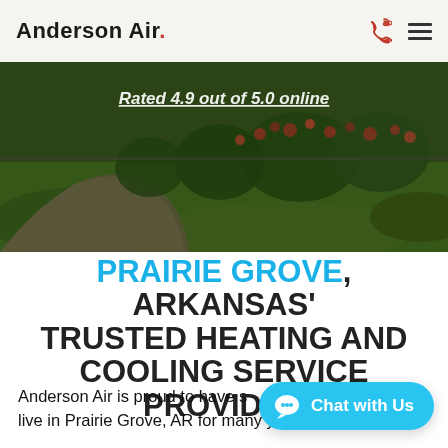Anderson Air.
[Figure (photo): Outdoor landscape photo showing a curved pathway with lush green grass, red flowering bushes and shrubs along a fence, with text overlay 'Rated 4.9 out of 5.0 online']
PRAIRIE GROVE, ARKANSAS' TRUSTED HEATING AND COOLING SERVICE PROVIDER
Anderson Air is proud to have s... live in Prairie Grove, AR for many years. We are